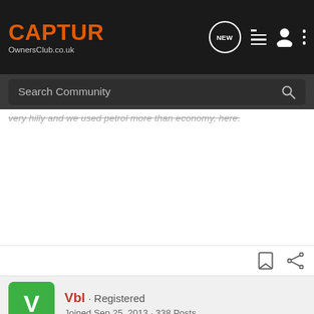[Figure (screenshot): CAPTUR OwnersClub.co.uk navigation bar with logo, search bar with 'Search Community' placeholder, and nav icons (NEW, list, person, dots).]
very hilly and we used petrol more than economy, here.
Vbl · Registered
Joined Sep 25, 2013 · 338 Posts
#6 · Dec 7, 2013
Have Dynamique S dci - R-link, auto lights, auto wipers, heated wing mirrors, etc etc, two tone (black with Arizona roof and trimmings) and got it with super reduction ex-demo with only a